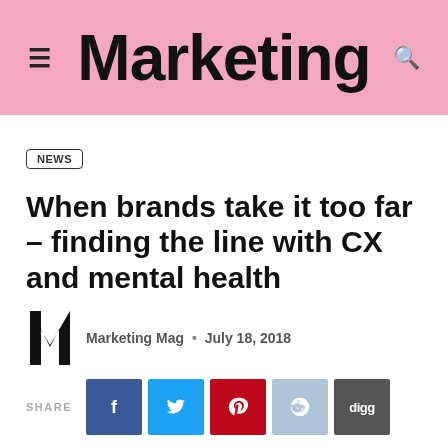Marketing
NEWS
When brands take it too far – finding the line with CX and mental health
Marketing Mag • July 18, 2018
SHARE
Has the industry gone unchecked for too long? Matthew Oxley explores the mental health